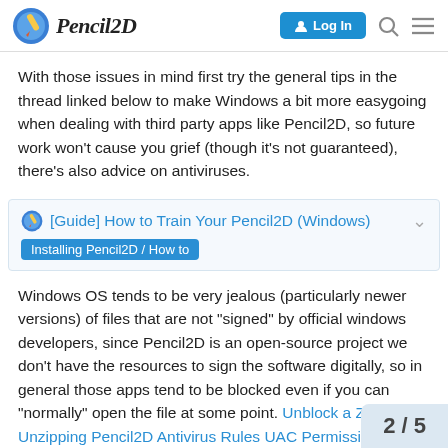Pencil2D [Log In]
With those issues in mind first try the general tips in the thread linked below to make Windows a bit more easygoing when dealing with third party apps like Pencil2D, so future work won't cause you grief (though it's not guaranteed), there's also advice on antiviruses.
[Guide] How to Train Your Pencil2D (Windows)
Installing Pencil2D / How to
Windows OS tends to be very jealous (particularly newer versions) of files that are not “signed” by official windows developers, since Pencil2D is an open-source project we don’t have the resources to sign the software digitally, so in general those apps tend to be blocked even if you can “normally” open the file at some point. Unblock a ZIP File Unzipping Pencil2D Antivirus Rules UAC Permissions Handling Run as Administrator Enable Developer Mode (advanced) Final words So after you do
2 / 5